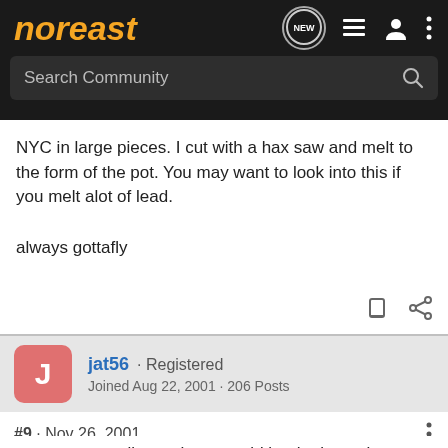noreast
NYC in large pieces. I cut with a hax saw and melt to the form of the pot. You may want to look into this if you melt alot of lead.
always gottafly
jat56 · Registered
Joined Aug 22, 2001 · 206 Posts
#9 · Nov 26, 2001
can any one tell me where would be the best place or any place to got lead.